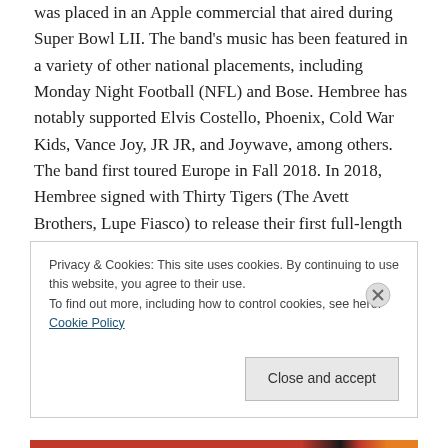was placed in an Apple commercial that aired during Super Bowl LII. The band's music has been featured in a variety of other national placements, including Monday Night Football (NFL) and Bose. Hembree has notably supported Elvis Costello, Phoenix, Cold War Kids, Vance Joy, JR JR, and Joywave, among others. The band first toured Europe in Fall 2018. In 2018, Hembree signed with Thirty Tigers (The Avett Brothers, Lupe Fiasco) to release their first full-length album House on Fire, released 4/26/2019. In 2019, Hembree performed at Hangout Music Festival. They will also appear on the soundtrack of 13
Privacy & Cookies: This site uses cookies. By continuing to use this website, you agree to their use. To find out more, including how to control cookies, see here: Cookie Policy